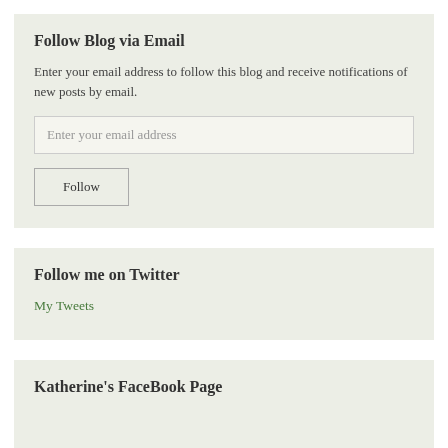Follow Blog via Email
Enter your email address to follow this blog and receive notifications of new posts by email.
Follow me on Twitter
My Tweets
Katherine's FaceBook Page